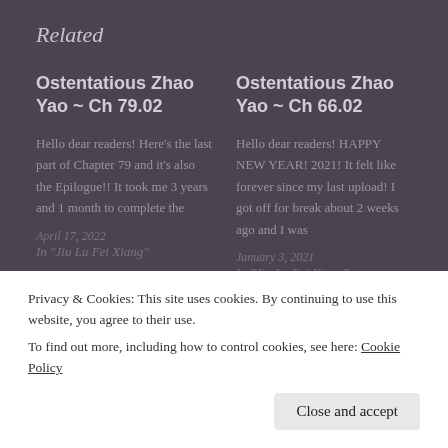Related
Ostentatious Zhao Yao ~ Ch 79.02
Hello dear readers! Here's the last part of Chapter 79 and it's also the Epilogue!! It took me 3 years and 1 month to complete the
April 17, 2022
In "Jiu Lu Fei Xiang"
Ostentatious Zhao Yao ~ Ch 66.02
Hello dear readers! HAPPY NEW YEAR! 2021! It felt like forever since my last upload! I got off for break about 2 weeks ago and I was
January 3, 2021
In "Jiu Lu Fei Xiang"
Privacy & Cookies: This site uses cookies. By continuing to use this website, you agree to their use.
To find out more, including how to control cookies, see here: Cookie Policy
Close and accept
Ostentatious Zhao